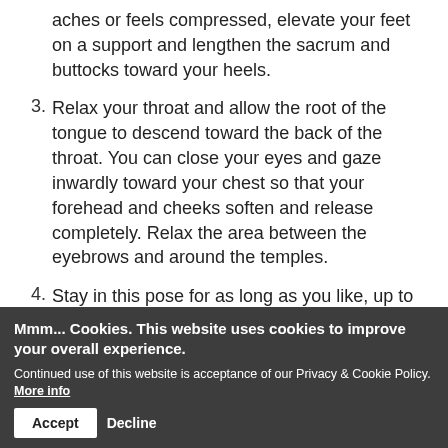aches or feels compressed, elevate your feet on a support and lengthen the sacrum and buttocks toward your heels.
3. Relax your throat and allow the root of the tongue to descend toward the back of the throat. You can close your eyes and gaze inwardly toward your chest so that your forehead and cheeks soften and release completely. Relax the area between the eyebrows and around the temples.
4. Stay in this pose for as long as you like, up to 10 minutes. You should feel completely relaxed.
5. On an exhalation, bend your knees, push your feet into the floor and slide toward your head, off the bolster, until your entire back comes to the floor. Rest the backs of